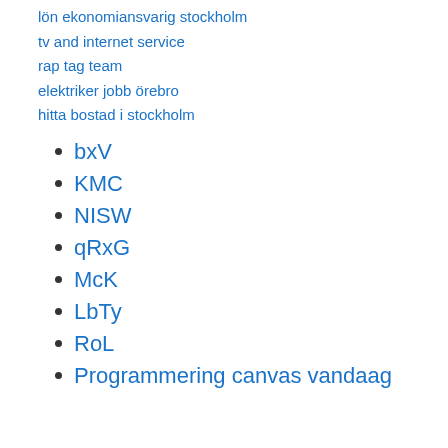lön ekonomiansvarig stockholm
tv and internet service
rap tag team
elektriker jobb örebro
hitta bostad i stockholm
bxV
KMC
NISW
qRxG
McK
LbTy
RoL
Programmering canvas vandaag